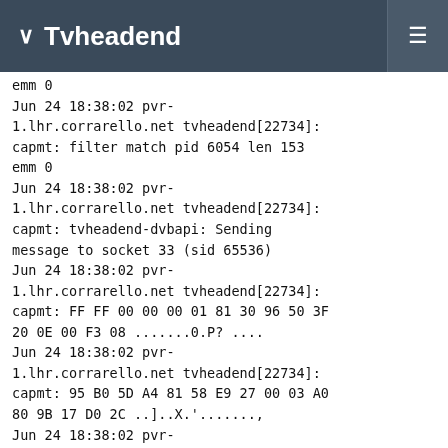Tvheadend
emm 0
Jun 24 18:38:02 pvr-1.lhr.corrarello.net tvheadend[22734]: capmt: filter match pid 6054 len 153 emm 0
Jun 24 18:38:02 pvr-1.lhr.corrarello.net tvheadend[22734]: capmt: tvheadend-dvbapi: Sending message to socket 33 (sid 65536)
Jun 24 18:38:02 pvr-1.lhr.corrarello.net tvheadend[22734]: capmt: FF FF 00 00 00 01 81 30 96 50 3F 20 0E 00 F3 08 .......0.P? ....
Jun 24 18:38:02 pvr-1.lhr.corrarello.net tvheadend[22734]: capmt: 95 B0 5D A4 81 58 E9 27 00 03 A0 80 9B 17 D0 2C ..]..X.'.......,
Jun 24 18:38:02 pvr-1.lhr.corrarello.net tvheadend[22734]: capmt: 78 34 2F 82 59 1A 27 F6 EA F4 D7 06 D0 00 00 E2 x4/.Y.'..........
Jun 24 18:38:02 pvr-1.lhr.corrarello.net tvheadend[22734]: